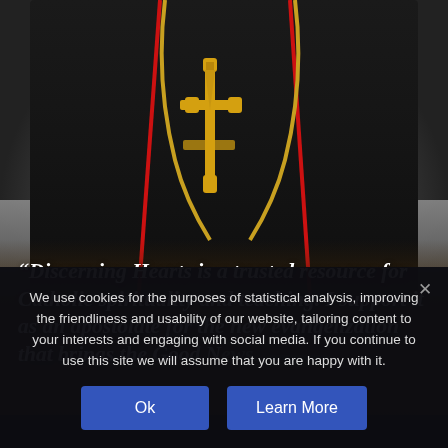[Figure (photo): Photograph of a Catholic clergyman in black cassock with red trim and a large gold cross pectoral, hands clasped together at waist level. Background appears to be an outdoor sunset scene with a silhouetted figure.]
“Discerning Hearts is a trusted resource for Catholic spirituality and teaching. I support it as an apostolate for the new evangelization that brings the Good News to every corner of the world.
We use cookies for the purposes of statistical analysis, improving the friendliness and usability of our website, tailoring content to your interests and engaging with social media. If you continue to use this site we will assume that you are happy with it.